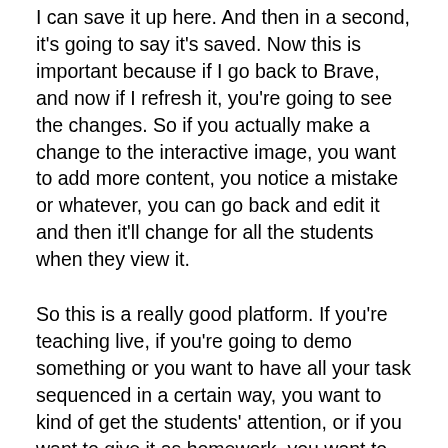I can save it up here. And then in a second, it's going to say it's saved. Now this is important because if I go back to Brave, and now if I refresh it, you're going to see the changes. So if you actually make a change to the interactive image, you want to add more content, you notice a mistake or whatever, you can go back and edit it and then it'll change for all the students when they view it.
So this is a really good platform. If you're teaching live, if you're going to demo something or you want to have all your task sequenced in a certain way, you want to kind of get the students' attention, or if you want to give it as homework, you want to make it really easy for the students to know what to do. There's just a lot of options you can do using this. And that's it. So this is using the interactive image on Genially. This is the free mode. As you can see, it's pretty cool. It's pretty powerful. And also once again, if you need some